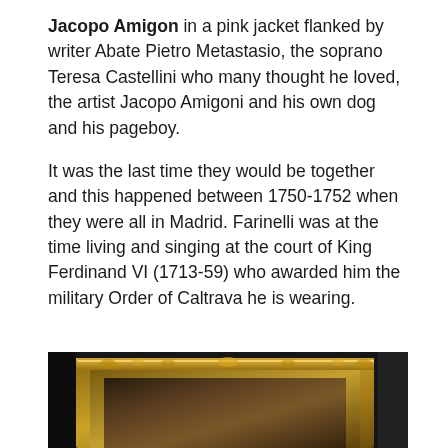Jacopo Amigon in a pink jacket flanked by writer Abate Pietro Metastasio, the soprano Teresa Castellini who many thought he loved, the artist Jacopo Amigoni and his own dog and his pageboy.

It was the last time they would be together and this happened between 1750-1752 when they were all in Madrid. Farinelli was at the time living and singing at the court of King Ferdinand VI (1713-59) who awarded him the military Order of Caltrava he is wearing.
[Figure (photo): Photograph of a framed painting displayed on a dark background, showing an ornate gilded frame with a classical figurative scene inside.]